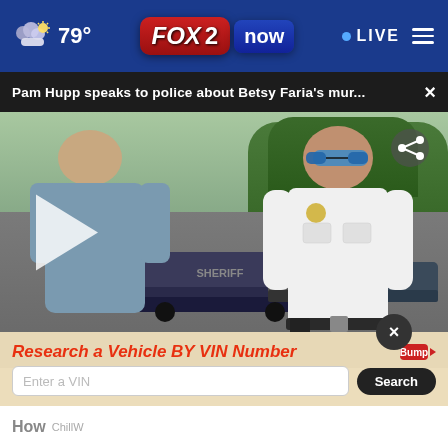79° FOX 2 now LIVE
Pam Hupp speaks to police about Betsy Faria's mur... ×
[Figure (screenshot): Video thumbnail showing two men in uniform outside a sheriff's vehicle, with a play button overlay and a share icon]
Research a Vehicle BY VIN Number Bump
Enter a VIN Search
How
ChillW